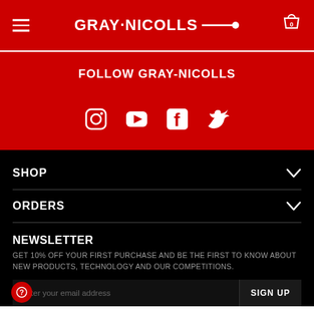Gray-Nicolls
FOLLOW GRAY-NICOLLS
[Figure (other): Social media icons: Instagram, YouTube, Facebook, Twitter]
SHOP
ORDERS
NEWSLETTER
GET 10% OFF YOUR FIRST PURCHASE AND BE THE FIRST TO KNOW ABOUT NEW PRODUCTS, TECHNOLOGY AND OUR COMPETITIONS.
Enter your email address    SIGN UP